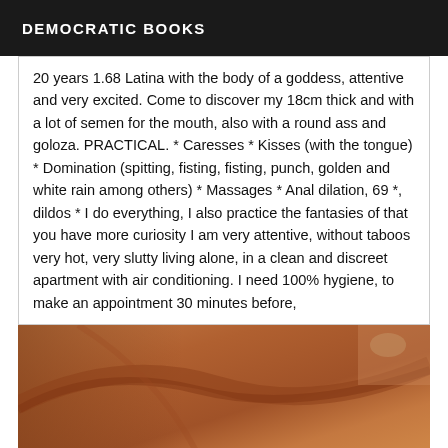DEMOCRATIC BOOKS
20 years 1.68 Latina with the body of a goddess, attentive and very excited. Come to discover my 18cm thick and with a lot of semen for the mouth, also with a round ass and goloza. PRACTICAL. * Caresses * Kisses (with the tongue) * Domination (spitting, fisting, fisting, punch, golden and white rain among others) * Massages * Anal dilation, 69 *, dildos * I do everything, I also practice the fantasies of that you have more curiosity I am very attentive, without taboos very hot, very slutty living alone, in a clean and discreet apartment with air conditioning. I need 100% hygiene, to make an appointment 30 minutes before,
[Figure (photo): Close-up photo of brown/tan skin surface with warm tones]